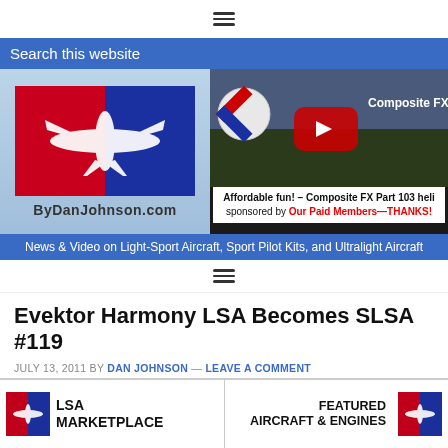≡ (hamburger menu icon)
Search this website
[Figure (screenshot): ByDanJohnson.com logo with airplane silhouette on red and blue background, beside a YouTube video thumbnail for Composite FX Part 103 heli with caption: Affordable fun! – Composite FX Part 103 heli sponsored by Our Paid Members—THANKS!]
News & Video on Light-Sport Aircraft, Sport Pilot Kits, and Ultralight Aircraft
≡ (hamburger menu icon)
Evektor Harmony LSA Becomes SLSA #119
JULY 13, 2011 BY DAN JOHNSON — LEAVE A COMMENT
[Figure (photo): Partial photo of an aircraft against a cloudy sky]
LSA MARKETPLACE | FEATURED AIRCRAFT & ENGINES